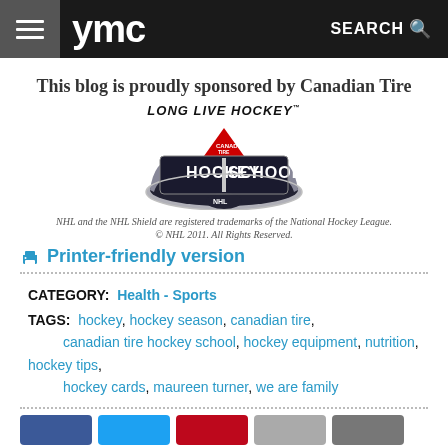ymc SEARCH
This blog is proudly sponsored by Canadian Tire
[Figure (logo): Canadian Tire Hockey School logo with 'LONG LIVE HOCKEY' text above. Features a hockey puck style emblem with HOCKEY SCHOOL text and Canadian Tire triangle logo.]
NHL and the NHL Shield are registered trademarks of the National Hockey League.
© NHL 2011. All Rights Reserved.
Printer-friendly version
CATEGORY: Health - Sports
TAGS: hockey, hockey season, canadian tire, canadian tire hockey school, hockey equipment, nutrition, hockey tips, hockey cards, maureen turner, we are family